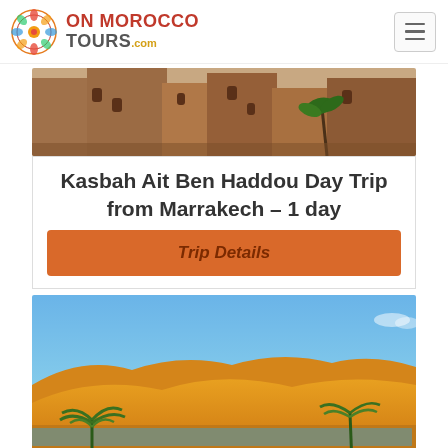ON MOROCCO TOURS .com
[Figure (photo): Kasbah Ait Ben Haddou ancient clay fortress buildings with palm tree]
Kasbah Ait Ben Haddou Day Trip from Marrakech – 1 day
Trip Details
[Figure (photo): Desert landscape with orange sand dunes, blue sky, and green yucca plants in foreground with water reflection]